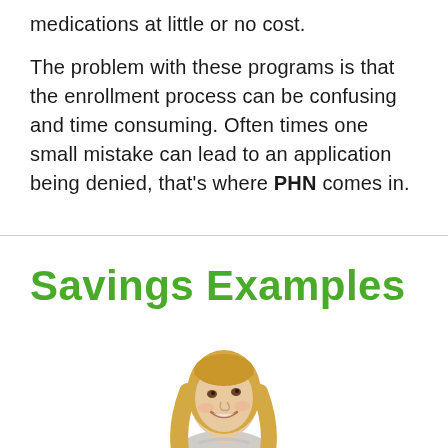medications at little or no cost.
The problem with these programs is that the enrollment process can be confusing and time consuming. Often times one small mistake can lead to an application being denied, that's where PHN comes in.
Savings Examples
[Figure (photo): Smiling middle-aged blonde woman looking up, wearing a light grey top, white background]